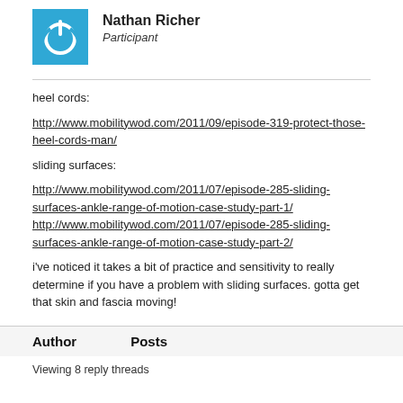[Figure (logo): Blue square avatar with white power button icon]
Nathan Richer
Participant
heel cords:

http://www.mobilitywod.com/2011/09/episode-319-protect-those-heel-cords-man/

sliding surfaces:

http://www.mobilitywod.com/2011/07/episode-285-sliding-surfaces-ankle-range-of-motion-case-study-part-1/
http://www.mobilitywod.com/2011/07/episode-285-sliding-surfaces-ankle-range-of-motion-case-study-part-2/

i've noticed it takes a bit of practice and sensitivity to really determine if you have a problem with sliding surfaces. gotta get that skin and fascia moving!
Author   Posts
Viewing 8 reply threads